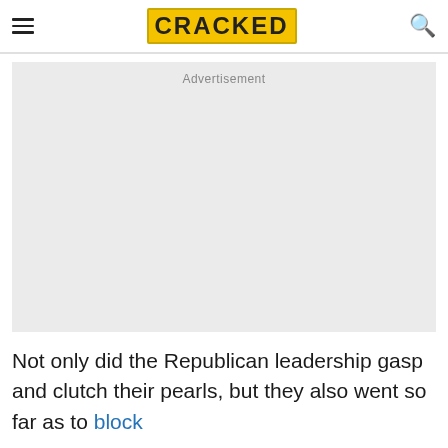CRACKED
[Figure (other): Advertisement placeholder block, light gray background]
Not only did the Republican leadership gasp and clutch their pearls, but they also went so far as to block